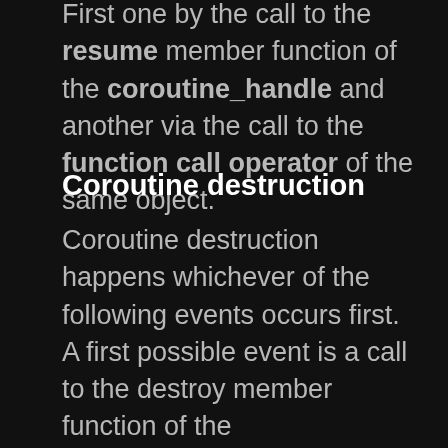First one by the call to the resume member function of the coroutine_handle and another via the call to the function call operator of the same object.
Coroutine destruction
Coroutine destruction happens whichever of the following events occurs first. A first possible event is a call to the destroy member function of the coroutine_handle type. Coroutine destruction also occurs when the flow goes off the coroutine function (after the final suspend point).